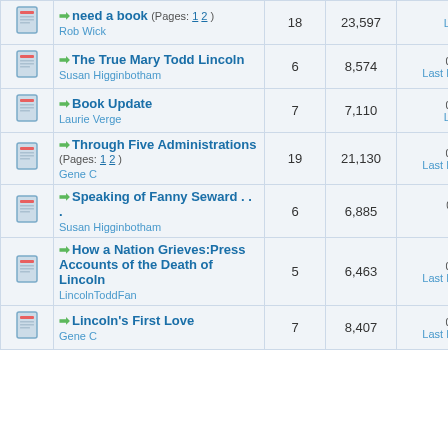|  | Topic | Replies | Views | Last Post |
| --- | --- | --- | --- | --- |
| [icon] | need a book (Pages: 1 2 ) Rob Wick | 18 | 23,597 | Last Post: LincolnMan |
| [icon] | The True Mary Todd Lincoln Susan Higginbotham | 6 | 8,574 | 08-12-2014 11:43 PM Last Post: LincolnToddFan |
| [icon] | Book Update Laurie Verge | 7 | 7,110 | 08-12-2014 03:27 PM Last Post: LincolnMan |
| [icon] | Through Five Administrations (Pages: 1 2 ) Gene C | 19 | 21,130 | 08-09-2014 02:41 PM Last Post: LincolnToddFan |
| [icon] | Speaking of Fanny Seward . . . Susan Higginbotham | 6 | 6,885 | 07-21-2014 10:44 AM Last Post: L Verge |
| [icon] | How a Nation Grieves:Press Accounts of the Death of Lincoln LincolnToddFan | 5 | 6,463 | 07-20-2014 09:47 PM Last Post: LincolnToddFan |
| [icon] | Lincoln's First Love Gene C | 7 | 8,407 | 07-16-2014 01:02 PM Last Post: LincolnToddFan |